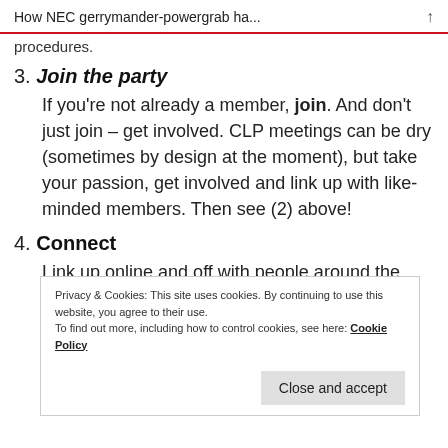How NEC gerrymander-powergrab ha...
procedures.
3. Join the party
If you’re not already a member, join. And don’t just join – get involved. CLP meetings can be dry (sometimes by design at the moment), but take your passion, get involved and link up with like-minded members. Then see (2) above!
4. Connect
Link up online and off with people around the country. Share information – and if you come
Privacy & Cookies: This site uses cookies. By continuing to use this website, you agree to their use.
To find out more, including how to control cookies, see here: Cookie Policy
Close and accept